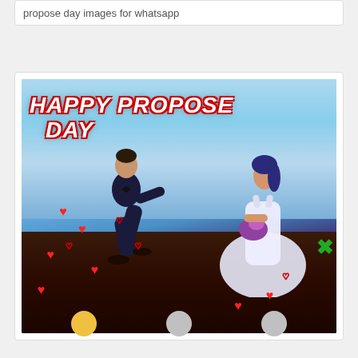propose day images for whatsapp
[Figure (photo): Happy Propose Day greeting image showing a man on one knee proposing to a woman in a white wedding dress holding flowers, with red heart decorations scattered around, set against a dramatic sky background with the text 'HAPPY PROPOSE DAY' in bold red and white letters at the top left.]